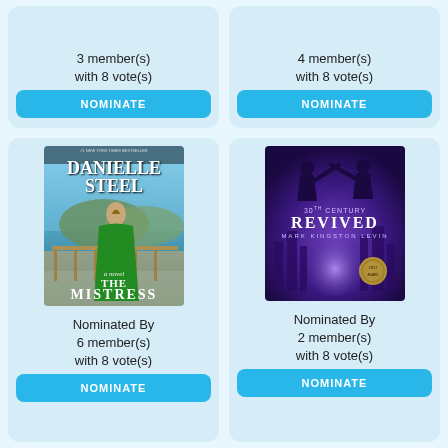3 member(s)
with 8 vote(s)
NOMINATE
4 member(s)
with 8 vote(s)
NOMINATE
[Figure (photo): Book cover: The Mistress by Danielle Steel]
Nominated By
6 member(s)
with 8 vote(s)
NOMINATE
[Figure (photo): Book cover: 30th Century Revived by Mark Kingston Levin]
Nominated By
2 member(s)
with 8 vote(s)
NOMINATE